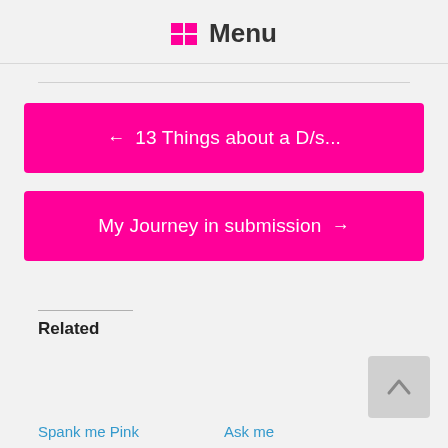Menu
← 13 Things about a D/s...
My Journey in submission →
Related
Spank me Pink
Ask me